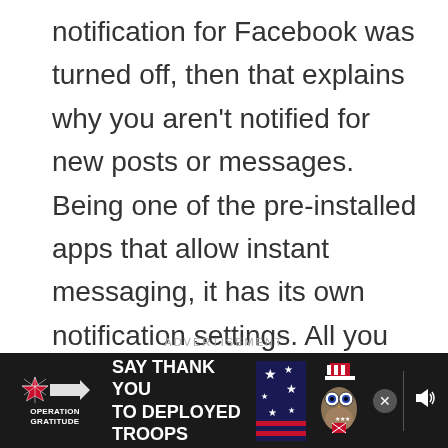notification for Facebook was turned off, then that explains why you aren't notified for new posts or messages. Being one of the pre-installed apps that allow instant messaging, it has its own notification settings. All you need to do is find out if it's turned off or not. If it is and notifications are still not showing, then try the next procedure.
ADVERTISEMENT
[Figure (other): Advertisement banner for Operation Gratitude — dark background with logo, text reading SAY THANK YOU TO DEPLOYED TROOPS, patriotic owl illustration with American flag elements, close button, and audio/volume icon.]